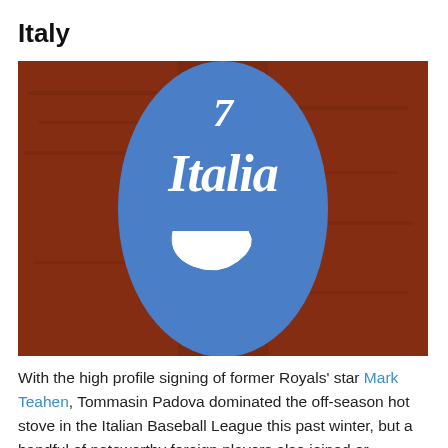Italy
[Figure (photo): Close-up photograph of a blue oval badge with 'Italia' written in white cursive script, set against a red/brown textured background (dirt field).]
With the high profile signing of former Royals' star Mark Teahen, Tommasin Padova dominated the off-season hot stove in the Italian Baseball League this past winter, but a handful of noteworthy foreign players also joined or